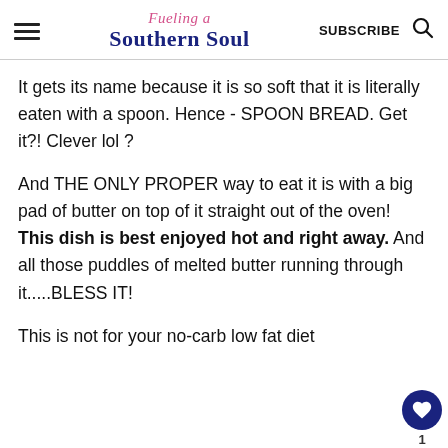Fueling a Southern Soul | SUBSCRIBE
It gets its name because it is so soft that it is literally eaten with a spoon. Hence - SPOON BREAD. Get it?! Clever lol ?
And THE ONLY PROPER way to eat it is with a big pad of butter on top of it straight out of the oven! This dish is best enjoyed hot and right away. And all those puddles of melted butter running through it.....BLESS IT!
This is not for your no-carb low fat diet